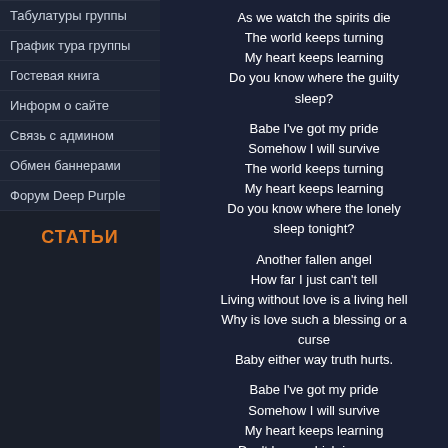Табулатуры группы
График тура группы
Гостевая книга
Информ о сайте
Связь с админом
Обмен баннерами
Форум Deep Purple
СТАТЬИ
As we watch the spirits die
The world keeps turning
My heart keeps learning
Do you know where the guilty sleep?

Babe I've got my pride
Somehow I will survive
The world keeps turning
My heart keeps learning
Do you know where the lonely sleep tonight?

Another fallen angel
How far I just can't tell
Living without love is a living hell
Why is love such a blessing or a curse
Baby either way truth hurts.

Babe I've got my pride
Somehow I will survive
My heart keeps learning
Don't know which is worse
But one thing that I know
Truth hurts.